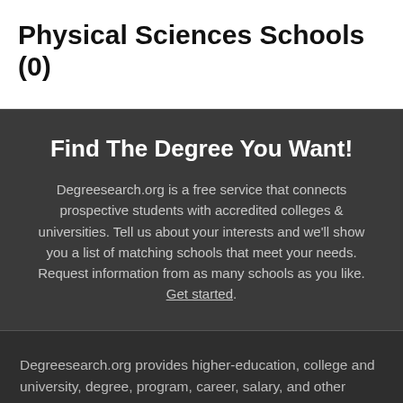Physical Sciences Schools (0)
Find The Degree You Want!
Degreesearch.org is a free service that connects prospective students with accredited colleges & universities. Tell us about your interests and we'll show you a list of matching schools that meet your needs. Request information from as many schools as you like. Get started.
Degreesearch.org provides higher-education, college and university, degree, program, career, salary, and other helpful information to students, faculty